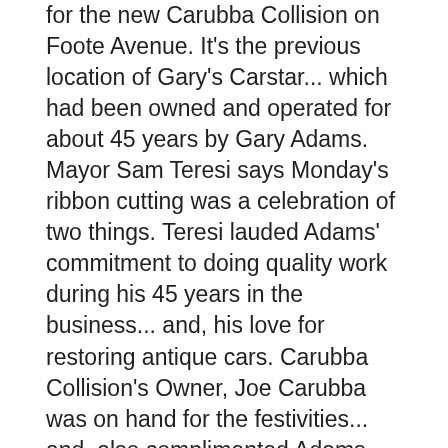for the new Carubba Collision on Foote Avenue.  It's the previous location of Gary's Carstar... which had been owned and operated for about 45 years by Gary Adams.  Mayor Sam Teresi says Monday's ribbon cutting was a celebration of two things.  Teresi lauded Adams' commitment to doing quality work during his 45 years in the business... and, his love for restoring antique cars.  Carubba Collision's Owner, Joe Carubba was on hand for the festivities... and, also complimented Adams... saying he wants to carry on the fine traditions he had in the Jamestown community... including the quality of work, and local employees.  Carubba says they'll also be adding five new employees for expanded service.  He says they will be a "one-stop" center for people to get their car's repaired, and get their insurance claims taken care of.
A new, family-owned restaurant has officially opened in downtown Jamestown that carries a Cuban cuisine... but,